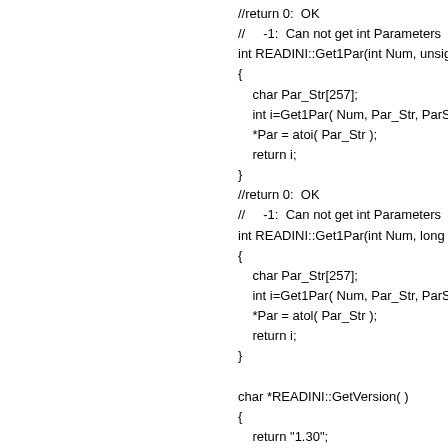//return 0:  OK
//     -1:  Can not get int Parameters
int READINI::Get1Par(int Num, unsign
{
    char Par_Str[257];
    int i=Get1Par( Num, Par_Str, ParStr
    *Par = atoi( Par_Str );
    return i;
}
//return 0:  OK
//     -1:  Can not get int Parameters
int READINI::Get1Par(int Num, long *
{
    char Par_Str[257];
    int i=Get1Par( Num, Par_Str, ParStr
    *Par = atol( Par_Str );
    return i;
}

char *READINI::GetVersion( )
{
    return "1.30";
}